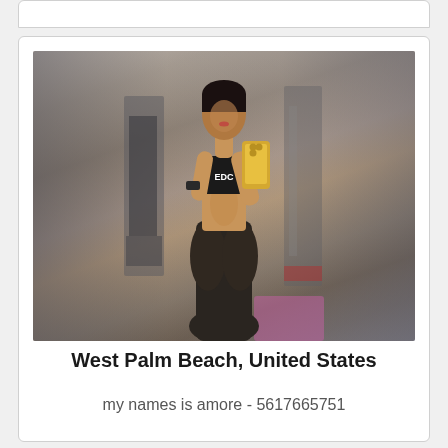[Figure (photo): A woman in a gym taking a mirror selfie with a gold/yellow smartphone. She is wearing a black sports bra top with 'EDC' logo and dark brown/black leggings. The gym background shows treadmills, weight equipment, and a pink mat.]
West Palm Beach, United States
my names is amore - 5617665751